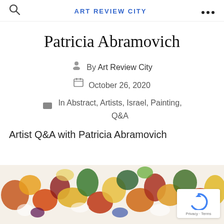ART REVIEW CITY
Patricia Abramovich
By Art Review City
October 26, 2020
In Abstract, Artists, Israel, Painting, Q&A
Artist Q&A with Patricia Abramovich
[Figure (photo): Abstract colorful painting with patches of yellow, orange, red, green on white background]